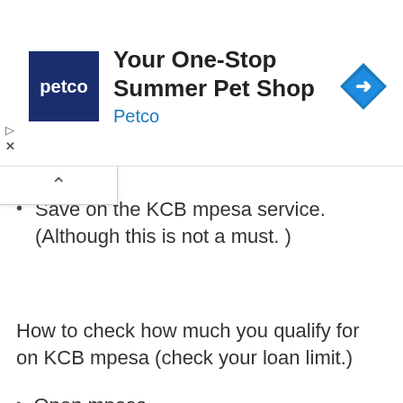[Figure (other): Petco advertisement banner: Petco logo (dark blue square with 'petco' text), headline 'Your One-Stop Summer Pet Shop', subtext 'Petco', and a blue diamond navigation arrow icon on the right. Play and close (X) icons on the left.]
Save on the KCB mpesa service. (Although this is not a must. )
How to check how much you qualify for on KCB mpesa (check your loan limit.)
Open mpesa
Select loans and savings
Go to KCB mpesa
Select loan
Press the check loan limit options.